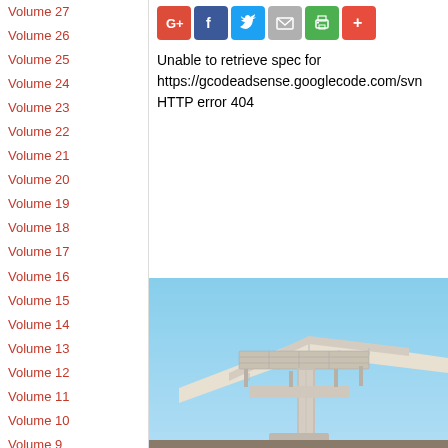Volume 27
Volume 26
Volume 25
Volume 24
Volume 23
Volume 22
Volume 21
Volume 20
Volume 19
Volume 18
Volume 17
Volume 16
Volume 15
Volume 14
Volume 13
Volume 12
Volume 11
Volume 10
Volume 9
Volume 8
Volume 7
Volume 6
Volume 5
Volume 4
[Figure (infographic): Social share buttons: Google+, Facebook, Twitter, Email, Print, More]
Unable to retrieve spec for https://gcodeadsense.googlecode.com/svn HTTP error 404
[Figure (photo): Architectural structure with cantilevered roof and support columns against a blue sky]